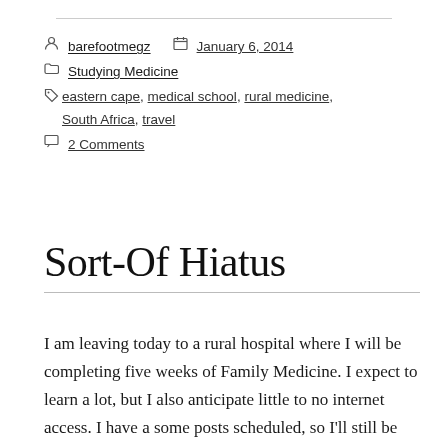barefootmegz  January 6, 2014
Studying Medicine
eastern cape, medical school, rural medicine, South Africa, travel
2 Comments
Sort-Of Hiatus
I am leaving today to a rural hospital where I will be completing five weeks of Family Medicine. I expect to learn a lot, but I also anticipate little to no internet access. I have a some posts scheduled, so I'll still be sort-of around. I will also be able to update the blog via